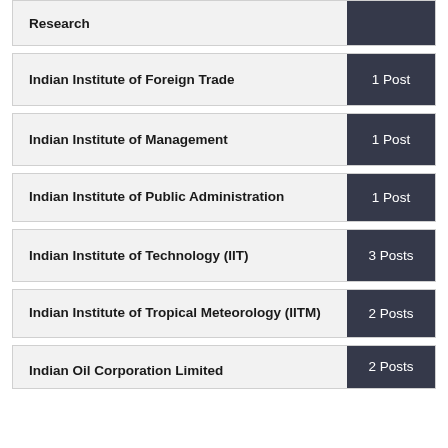| Organization | Posts |
| --- | --- |
| Research |  |
| Indian Institute of Foreign Trade | 1 Post |
| Indian Institute of Management | 1 Post |
| Indian Institute of Public Administration | 1 Post |
| Indian Institute of Technology (IIT) | 3 Posts |
| Indian Institute of Tropical Meteorology (IITM) | 2 Posts |
| Indian Oil Corporation Limited | 2 Posts |